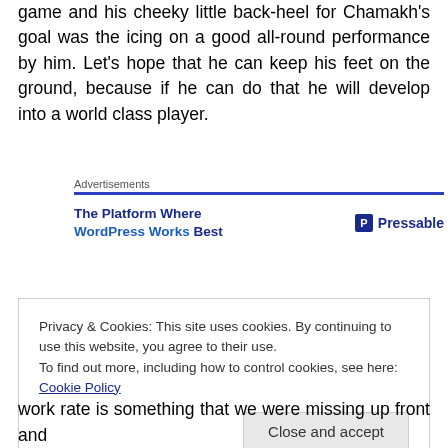game and his cheeky little back-heel for Chamakh's goal was the icing on a good all-round performance by him. Let's hope that he can keep his feet on the ground, because if he can do that he will develop into a world class player.
[Figure (other): Advertisement banner: 'The Platform Where WordPress Works Best' with Pressable logo on the right]
Privacy & Cookies: This site uses cookies. By continuing to use this website, you agree to their use.
To find out more, including how to control cookies, see here: Cookie Policy
[Close and accept button]
work rate is something that we were missing up front and